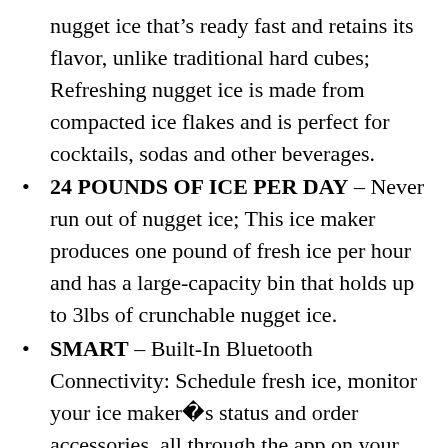nugget ice that’s ready fast and retains its flavor, unlike traditional hard cubes; Refreshing nugget ice is made from compacted ice flakes and is perfect for cocktails, sodas and other beverages.
24 POUNDS OF ICE PER DAY – Never run out of nugget ice; This ice maker produces one pound of fresh ice per hour and has a large-capacity bin that holds up to 3lbs of crunchable nugget ice.
SMART – Built-In Bluetooth Connectivity: Schedule fresh ice, monitor your ice maker� s status and order accessories, all through the app on your smartphone.
BATCH MADE ICE – Innovative design avoids clumping and leaks by